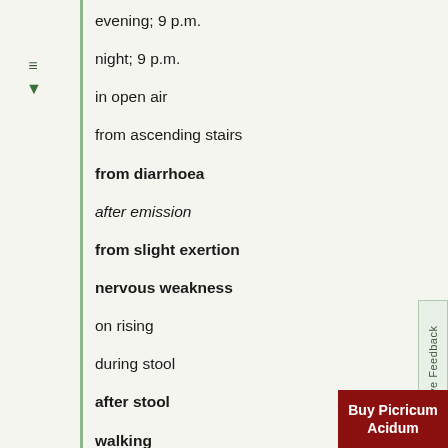evening; 9 p.m.
night; 9 p.m.
in open air
from ascending stairs
from diarrhoea
after emission
from slight exertion
nervous weakness
on rising
during stool
after stool
walking
Weariness (see weakness)
mental exertion